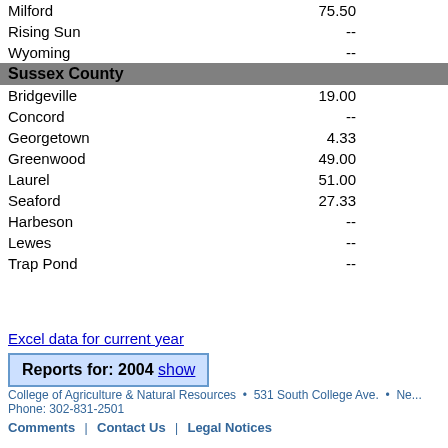| Location | Col1 | Col2 |
| --- | --- | --- |
| Milford | 75.50 | 11.50 |
| Rising Sun | -- | -- |
| Wyoming | -- | -- |
| Sussex County |  |  |
| Bridgeville | 19.00 | 4.00 |
| Concord | -- | -- |
| Georgetown | 4.33 | 5.67 |
| Greenwood | 49.00 | -- |
| Laurel | 51.00 | 9.67 |
| Seaford | 27.33 | 16.33 |
| Harbeson | -- | -- |
| Lewes | -- | -- |
| Trap Pond | -- | -- |
Excel data for current year
Reports for: 2004 show
College of Agriculture & Natural Resources • 531 South College Ave. • Ne... Phone: 302-831-2501 | Comments | Contact Us | Legal Notices